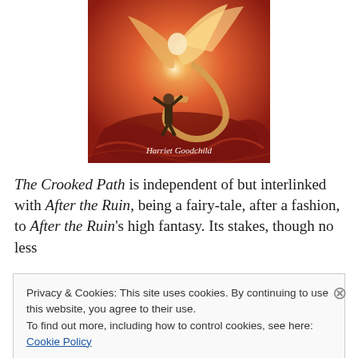[Figure (illustration): Book cover art showing a figure facing a phoenix-like creature with glowing wings and a serpentine body, in warm red and orange tones. Text at bottom reads 'Harriet Goodchild'.]
The Crooked Path is independent of but interlinked with After the Ruin, being a fairy-tale, after a fashion, to After the Ruin's high fantasy. Its stakes, though no less
Privacy & Cookies: This site uses cookies. By continuing to use this website, you agree to their use.
To find out more, including how to control cookies, see here: Cookie Policy
Close and accept